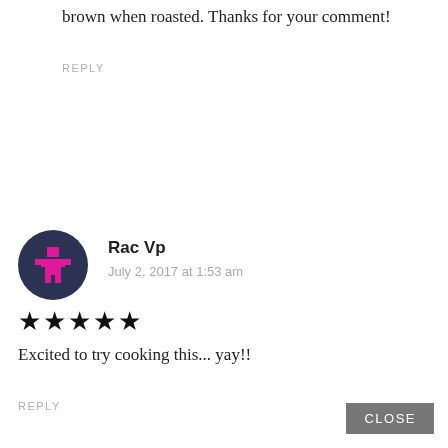brown when roasted. Thanks for your comment!
REPLY
[Figure (illustration): Circular dark navy avatar with pink pixel-art icon of a person/building symbol]
Rac Vp
July 2, 2017 at 1:53 am
★★★★★
Excited to try cooking this... yay!!
REPLY
CLOSE